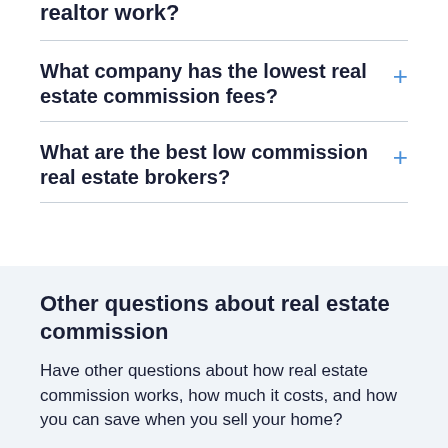realtor work?
What company has the lowest real estate commission fees?
What are the best low commission real estate brokers?
Other questions about real estate commission
Have other questions about how real estate commission works, how much it costs, and how you can save when you sell your home?